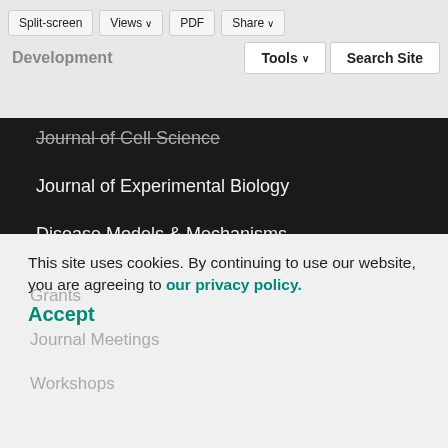Split-screen | Views | PDF | Share | Development | Tools | Search Site
Journal of Cell Science
Journal of Experimental Biology
Disease Models & Mechanisms
Biology Open
The Node
preLights
FocalPlane
Grants
Journal Meetings
Workshops
This site uses cookies. By continuing to use our website, you are agreeing to our privacy policy. Accept